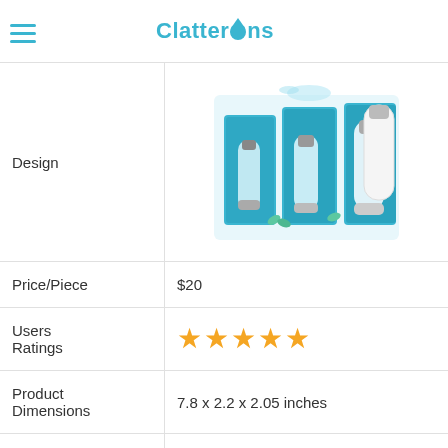ClatterOns
| Attribute | Value |
| --- | --- |
| Design | [product image - water filters] |
| Price/Piece | $20 |
| Users Ratings | ★★★★★ |
| Product Dimensions | 7.8 x 2.2 x 2.05 inches |
| Weight | 6 Ounces |